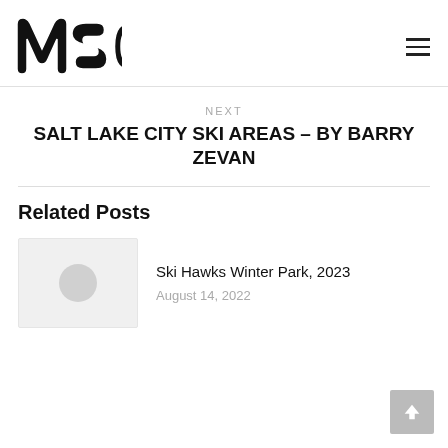[Figure (logo): MSC logo in bold graffiti-style black lettering]
NEXT
SALT LAKE CITY SKI AREAS – BY BARRY ZEVAN
Related Posts
Ski Hawks Winter Park, 2023
August 14, 2022